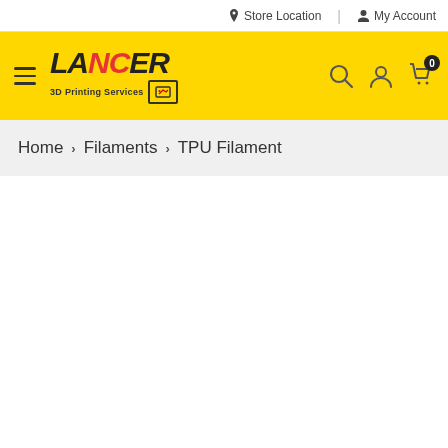Store Location | My Account
[Figure (logo): LANCER 3D Printing Services logo with hamburger menu, search, account, and cart icons on yellow background]
Home › Filaments › TPU Filament